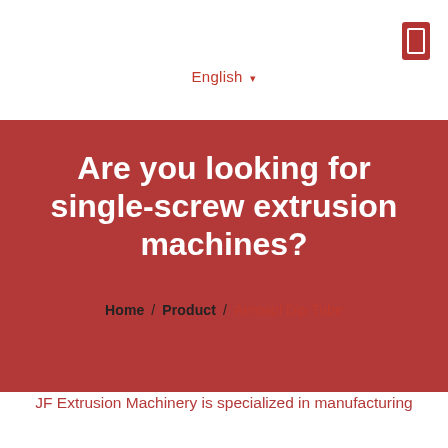English ▾
Are you looking for single-screw extrusion machines?
Home / Product / Aerosol Dip Tube
JF Extrusion Machinery is specialized in manufacturing